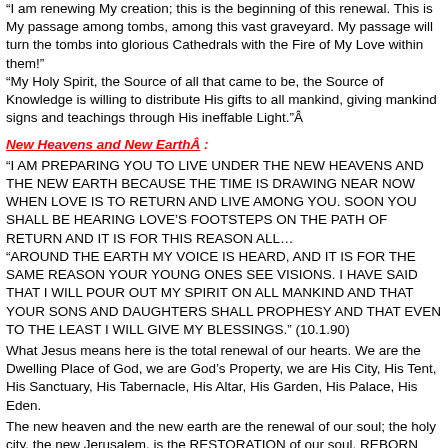“I am renewing My creation; this is the beginning of this renewal. This is My passage among tombs, among this vast graveyard. My passage will turn the tombs into glorious Cathedrals with the Fire of My Love within them!” “My Holy Spirit, the Source of all that came to be, the Source of Knowledge is willing to distribute His gifts to all mankind, giving mankind signs and teachings through His ineffable Light.”Â
New Heavens and New EarthÂ :
“I AM PREPARING YOU TO LIVE UNDER THE NEW HEAVENS AND THE NEW EARTH BECAUSE THE TIME IS DRAWING NEAR NOW WHEN LOVE IS TO RETURN AND LIVE AMONG YOU. SOON YOU SHALL BE HEARING LOVE’S FOOTSTEPS ON THE PATH OF RETURN AND IT IS FOR THIS REASON ALL… “AROUND THE EARTH MY VOICE IS HEARD, AND IT IS FOR THE SAME REASON YOUR YOUNG ONES SEE VISIONS. I HAVE SAID THAT I WILL POUR OUT MY SPIRIT ON ALL MANKIND AND THAT YOUR SONS AND DAUGHTERS SHALL PROPHESY AND THAT EVEN TO THE LEAST I WILL GIVE MY BLESSINGS.” (10.1.90)
What Jesus means here is the total renewal of our hearts. We are the Dwelling Place of God, we are God’s Property, we are His City, His Tent, His Sanctuary, His Tabernacle, His Altar, His Garden, His Palace, His Eden.
The new heaven and the new earth are the renewal of our soul; the holy city, the new Jerusalem, is the RESTORATION of our soul, REBORN from the Holy Spirit. Today this generation’s soul is drier than wasteland, but tomorrow our soul will be turned into a Garden of Eden, because the Holy Spirit of God, the Giver of Life, will purify our soul.